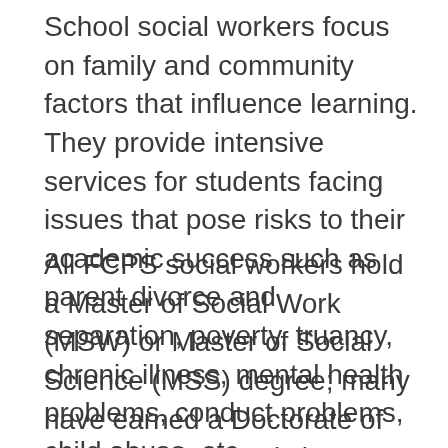School social workers focus on family and community factors that influence learning. They provide intensive services for students facing issues that pose risks to their academic success such as parent divorce and separation, poverty, truancy, chronic illness, mental health problems, conduct problems, child abuse, etc.
All FCPS social workers hold a Master of Social Work (MSW) or Master of Social Science (MSS) degree; many have earned a Doctorate of Social Work (DSW) degree. All school social workers are licensed by the Virginia Department of Education. The majority of the staff is clinically licensed by the Commonwealth of Virginia Board of Social Work (LCSW) or in other